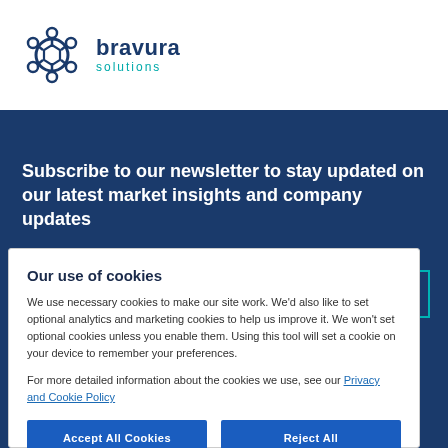[Figure (logo): Bravura Solutions logo with hexagonal gear icon in dark blue/teal and company name 'bravura solutions' in dark blue and teal text]
Subscribe to our newsletter to stay updated on our latest market insights and company updates
SUBSCRIBE
Our use of cookies
We use necessary cookies to make our site work. We'd also like to set optional analytics and marketing cookies to help us improve it. We won't set optional cookies unless you enable them. Using this tool will set a cookie on your device to remember your preferences.
For more detailed information about the cookies we use, see our Privacy and Cookie Policy
Accept All Cookies
Reject All